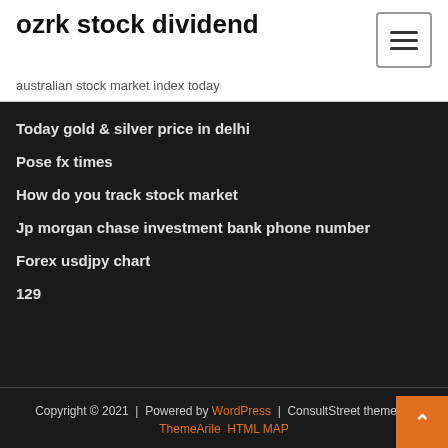ozrk stock dividend
australian stock market index today
Today gold & silver price in delhi
Pose fx times
How do you track stock market
Jp morgan chase investment bank phone number
Forex usdjpy chart
129
Copyright © 2021  |  Powered by WordPress  |  ConsultStreet theme by ThemeArile HTML MAP